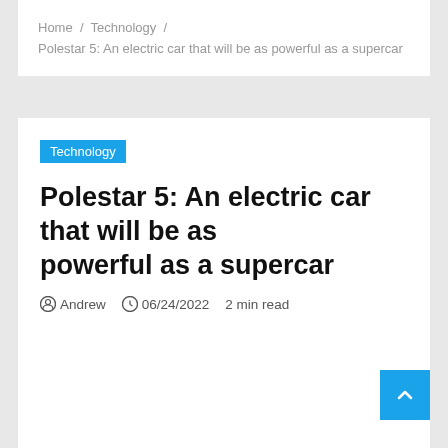Home / Technology / Polestar 5: An electric car that will be as powerful as a supercar
Technology
Polestar 5: An electric car that will be as powerful as a supercar
Andrew   06/24/2022   2 min read